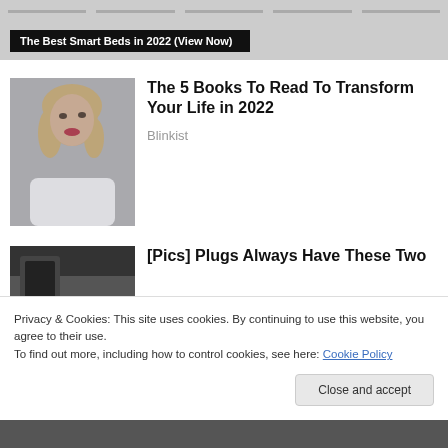[Figure (screenshot): Top banner advertisement area with horizontal lines and dark label reading 'The Best Smart Beds in 2022 (View Now)']
[Figure (photo): Photo of a young blonde woman looking to the side against a grey background]
The 5 Books To Read To Transform Your Life in 2022
Blinkist
[Figure (photo): Partial photo of a plug/outlet scene, dark image]
[Pics] Plugs Always Have These Two Holes — Here's Why
Privacy & Cookies: This site uses cookies. By continuing to use this website, you agree to their use.
To find out more, including how to control cookies, see here: Cookie Policy
Close and accept